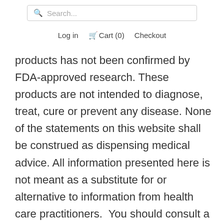Search... Log in Cart (0) Checkout
products has not been confirmed by FDA-approved research. These products are not intended to diagnose, treat, cure or prevent any disease. None of the statements on this website shall be construed as dispensing medical advice. All information presented here is not meant as a substitute for or alternative to information from health care practitioners.  You should consult a licensed health care professional about potential interactions or other possible complications before using any product, especially if you are pregnant or have any pre-existing injuries or medical conditions.